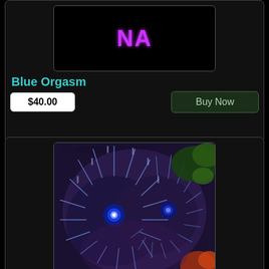[Figure (other): Black image area with purple 'NA' text centered]
Blue Orgasm
$40.00
Buy Now
[Figure (photo): Close-up photo of blue and white striped zoanthid coral polyps with glowing blue center, green coral visible at top right, orange coral at bottom right]
Blue Shuriken
$45.00
Buy Now